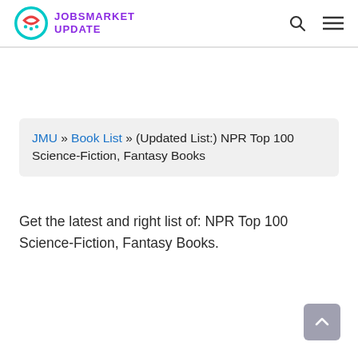JOBSMARKET UPDATE
JMU » Book List » (Updated List:) NPR Top 100 Science-Fiction, Fantasy Books
Get the latest and right list of: NPR Top 100 Science-Fiction, Fantasy Books.